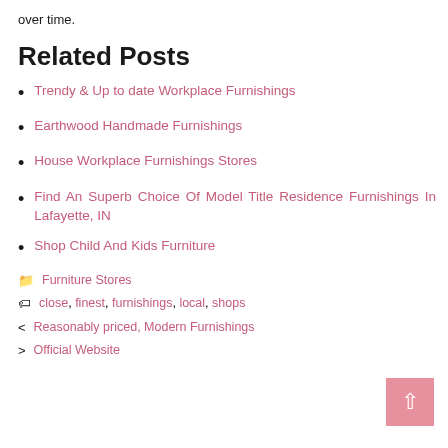over time.
Related Posts
Trendy & Up to date Workplace Furnishings
Earthwood Handmade Furnishings
House Workplace Furnishings Stores
Find An Superb Choice Of Model Title Residence Furnishings In Lafayette, IN
Shop Child And Kids Furniture
Furniture Stores
close, finest, furnishings, local, shops
< Reasonably priced, Modern Furnishings
> Official Website